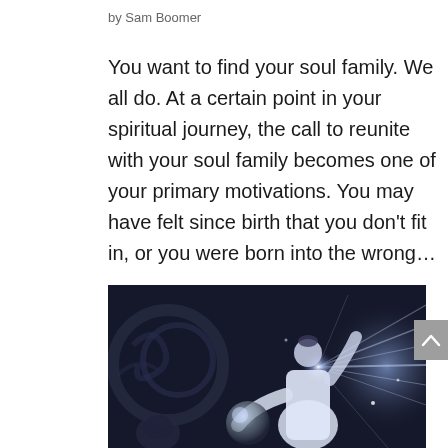by Sam Boomer
You want to find your soul family. We all do. At a certain point in your spiritual journey, the call to reunite with your soul family becomes one of your primary motivations. You may have felt since birth that you don't fit in, or you were born into the wrong...
[Figure (illustration): A mystical/spiritual illustration in dark blue-grey tones showing a woman in white robes holding a glowing orb, with light radiating from her chest and swirling cosmic elements in the background.]